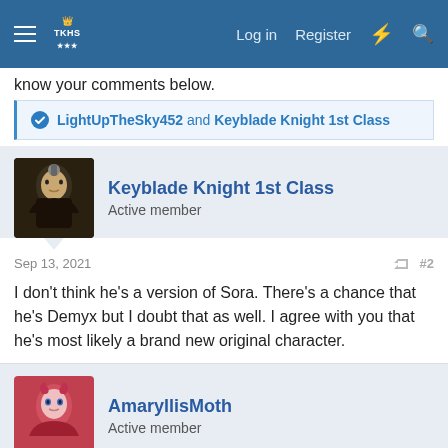Log in  Register
know your comments below.
LightUpTheSky452 and Keyblade Knight 1st Class
Keyblade Knight 1st Class
Active member
Sep 13, 2021  #2
I don't think he's a version of Sora. There's a chance that he's Demyx but I doubt that as well. I agree with you that he's most likely a brand new original character.
AmaryllisMoth
Active member
Sep 13, 2021  #3
I think the reason people are so attached to the idea of "X is